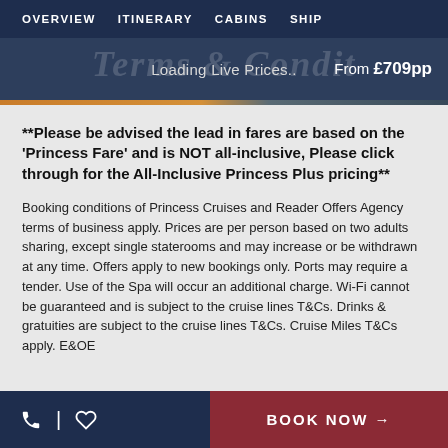OVERVIEW  ITINERARY  CABINS  SHIP
Loading Live Prices..  From £709pp
**Please be advised the lead in fares are based on the 'Princess Fare' and is NOT all-inclusive, Please click through for the All-Inclusive Princess Plus pricing**
Booking conditions of Princess Cruises and Reader Offers Agency terms of business apply. Prices are per person based on two adults sharing, except single staterooms and may increase or be withdrawn at any time. Offers apply to new bookings only. Ports may require a tender. Use of the Spa will occur an additional charge. Wi-Fi cannot be guaranteed and is subject to the cruise lines T&Cs. Drinks & gratuities are subject to the cruise lines T&Cs. Cruise Miles T&Cs apply. E&OE
BOOK NOW →